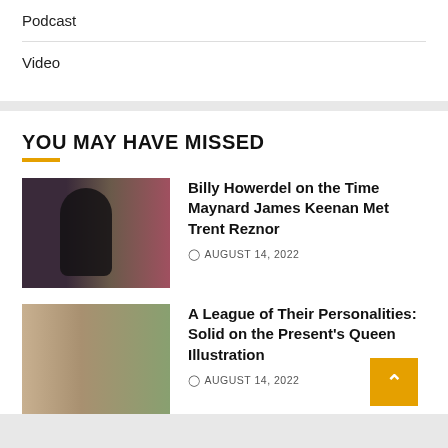Podcast
Video
YOU MAY HAVE MISSED
[Figure (photo): Composite image of Billy Howerdel and related musicians]
Billy Howerdel on the Time Maynard James Keenan Met Trent Reznor
AUGUST 14, 2022
[Figure (photo): Scene from A League of Their Own showing two characters in baseball uniforms]
A League of Their Personalities: Solid on the Present's Queens Illustration
AUGUST 14, 2022